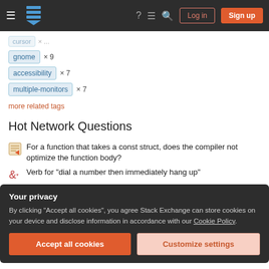Stack Exchange navigation bar with Log in and Sign up buttons
gnome × 9
accessibility × 7
multiple-monitors × 7
more related tags
Hot Network Questions
For a function that takes a const struct, does the compiler not optimize the function body?
Verb for "dial a number then immediately hang up"
Your privacy
By clicking "Accept all cookies", you agree Stack Exchange can store cookies on your device and disclose information in accordance with our Cookie Policy.
Accept all cookies   Customize settings
previous generations did not?